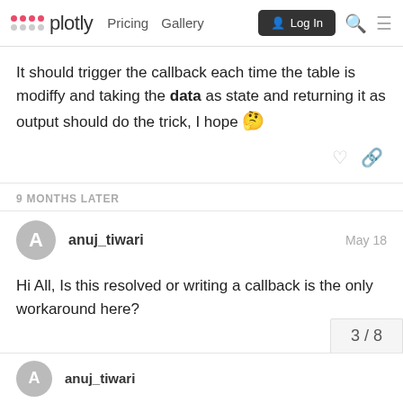plotly  Pricing  Gallery  Log In
It should trigger the callback each time the table is modiffy and taking the data as state and returning it as output should do the trick, I hope 🤔
9 MONTHS LATER
anuj_tiwari  May 18
Hi All, Is this resolved or writing a callback is the only workaround here?
3 / 8
anuj_tiwari